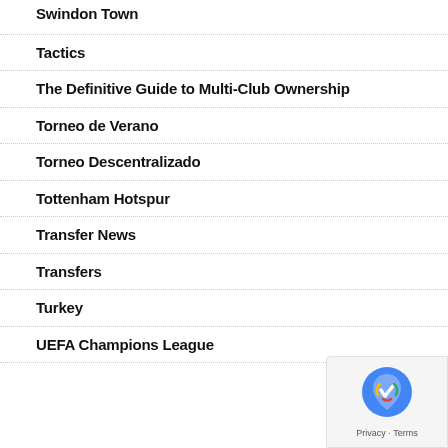Swindon Town
Tactics
The Definitive Guide to Multi-Club Ownership
Torneo de Verano
Torneo Descentralizado
Tottenham Hotspur
Transfer News
Transfers
Turkey
UEFA Champions League